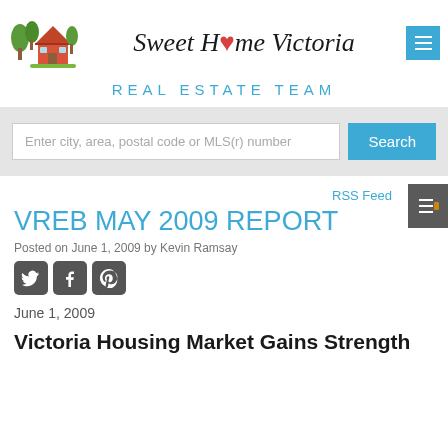[Figure (logo): Sweet Home Victoria Real Estate Team logo with house illustration and cursive brand name]
REAL ESTATE TEAM
Enter city, area, postal code or MLS(r) number
RSS Feed
VREB MAY 2009 REPORT
Posted on June 1, 2009 by Kevin Ramsay
June 1, 2009
Victoria Housing Market Gains Strength